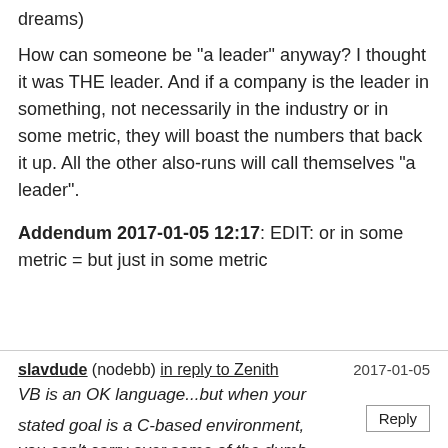dreams)
How can someone be "a leader" anyway? I thought it was THE leader. And if a company is the leader in something, not necessarily in the industry or in some metric, they will boast the numbers that back it up. All the other also-runs will call themselves "a leader".
Addendum 2017-01-05 12:17: EDIT: or in some metric = but just in some metric
slavdude (nodebb) in reply to Zenith   2017-01-05
VB is an OK language...but when your stated goal is a C-based environment, you can't carry over some of the dumb design